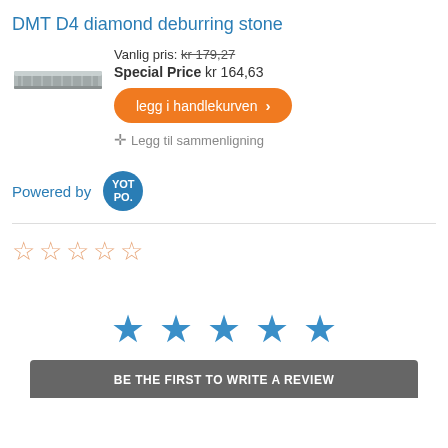DMT D4 diamond deburring stone
Vanlig pris: kr 179,27
Special Price kr 164,63
[Figure (photo): Photo of a flat diamond deburring stone, grey metallic, rectangular shape]
legg i handlekurven >
+ Legg til sammenligning
Powered by YOTPO.
[Figure (other): 5 empty star rating icons in orange outline style]
[Figure (other): 5 filled blue star icons, large size]
BE THE FIRST TO WRITE A REVIEW